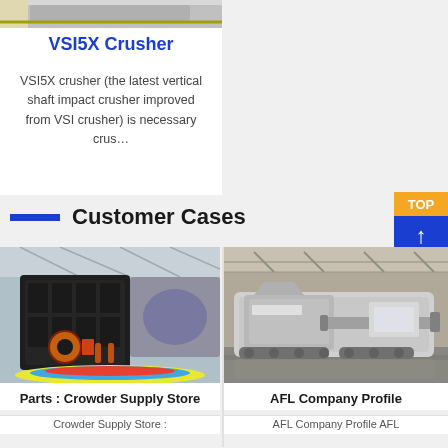[Figure (photo): Partial top image of industrial machinery or conveyor belt, cropped at top of page]
VSI5X Crusher
VSI5X crusher (the latest vertical shaft impact crusher improved from VSI crusher) is necessary crus…
Customer Cases
[Figure (photo): Large black industrial impact crusher machine displayed on a colorful circular platform in an exhibition hall]
Parts : Crowder Supply Store
Crowder Supply Store :
[Figure (photo): Mobile jaw crusher machine in a large warehouse or industrial facility]
AFL Company Profile
AFL Company Profile AFL